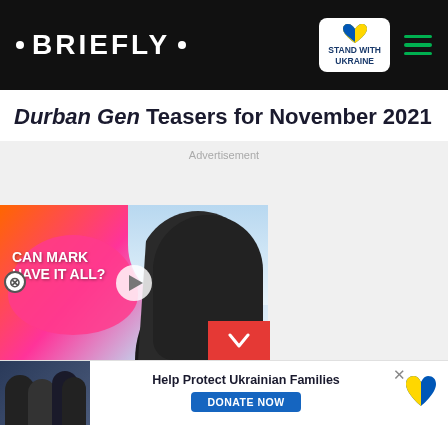• BRIEFLY •
Durban Gen Teasers for November 2021
[Figure (screenshot): Advertisement area with a video card showing 'CAN MARK HAVE IT ALL?' with a man's photo, play button, and a red down-arrow box. Below is a donation banner: 'Help Protect Ukrainian Families' with DONATE NOW button and Ukrainian heart logo.]